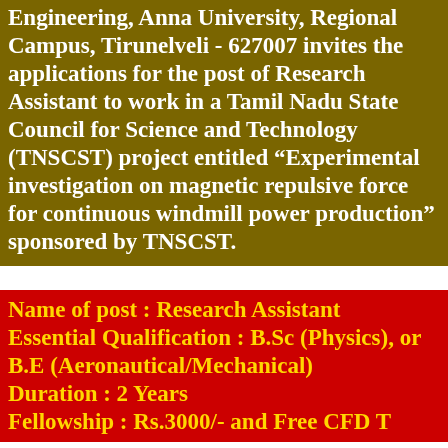Engineering, Anna University, Regional Campus, Tirunelveli - 627007 invites the applications for the post of Research Assistant to work in a Tamil Nadu State Council for Science and Technology (TNSCST) project entitled “Experimental investigation on magnetic repulsive force for continuous windmill power production” sponsored by TNSCST.
Name of post :  Research Assistant Essential Qualification : B.Sc (Physics), or B.E (Aeronautical/Mechanical) Duration : 2 Years Fellowship : Rs.3000/- and Free CFD Training